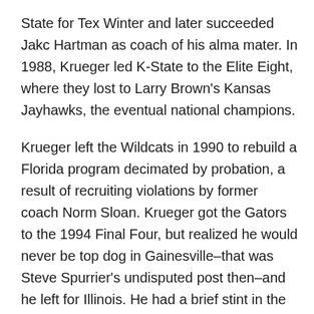State for Tex Winter and later succeeded Jakc Hartman as coach of his alma mater. In 1988, Krueger led K-State to the Elite Eight, where they lost to Larry Brown's Kansas Jayhawks, the eventual national champions.
Krueger left the Wildcats in 1990 to rebuild a Florida program decimated by probation, a result of recruiting violations by former coach Norm Sloan. Krueger got the Gators to the 1994 Final Four, but realized he would never be top dog in Gainesville–that was Steve Spurrier's undisputed post then–and he left for Illinois. He had a brief stint in the NBA with the Atlanta Hawks before returning to college with UNLV, then moving back into the Big 8/Big 12 fraternity in Norman.
I don't have to stay the whole day. When I'm done I'll go to Overland Park to stay overnight and return tomorrow.